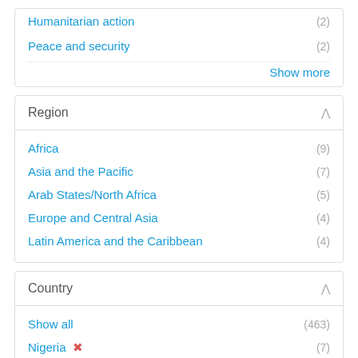Humanitarian action (2)
Peace and security (2)
Show more
Region
Africa (9)
Asia and the Pacific (7)
Arab States/North Africa (5)
Europe and Central Asia (4)
Latin America and the Caribbean (4)
Country
Show all (463)
Nigeria ✕ (7)
Congo, Democratic Republic of the ✕ (2)